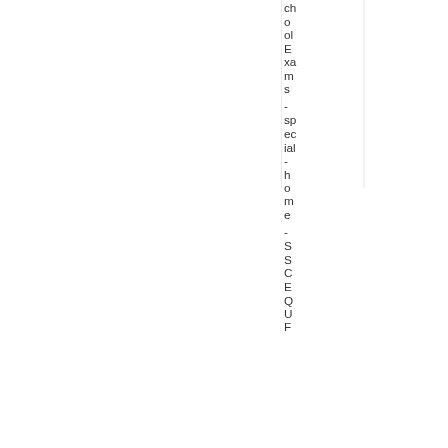cholExams - special-home - SSCEQUE...